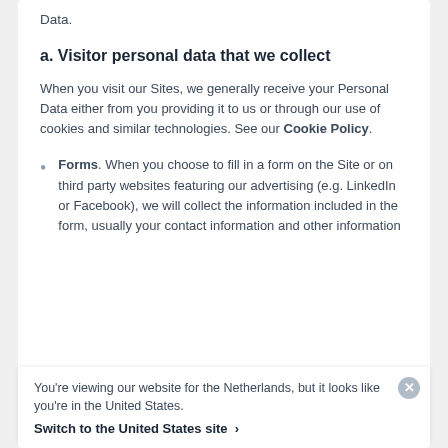Data.
a. Visitor personal data that we collect
When you visit our Sites, we generally receive your Personal Data either from you providing it to us or through our use of cookies and similar technologies. See our Cookie Policy.
Forms. When you choose to fill in a form on the Site or on third party websites featuring our advertising (e.g. LinkedIn or Facebook), we will collect the information included in the form, usually your contact information and other information
You're viewing our website for the Netherlands, but it looks like you're in the United States.
Switch to the United States site >
collect, including about online activity.